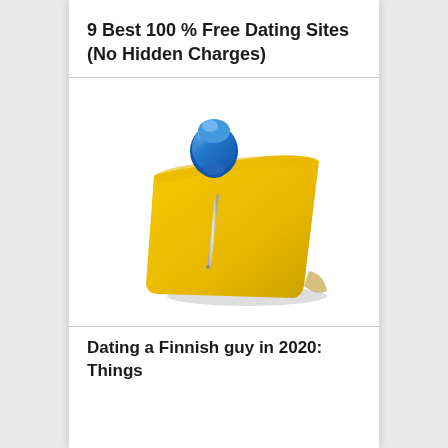9 Best 100 % Free Dating Sites (No Hidden Charges)
[Figure (illustration): A yellow sticky note pinned with a blue thumbtack/pushpin illustration]
Dating a Finnish guy in 2020: Things